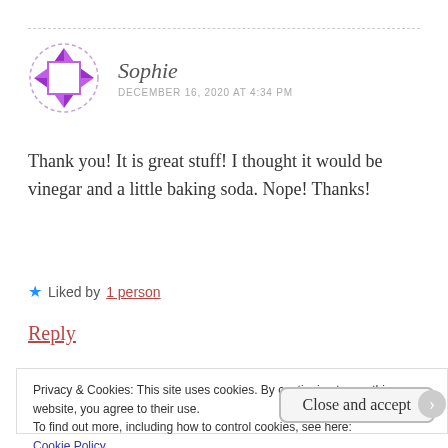[Figure (logo): Purple geometric avatar icon with diamond/square pattern in dashed circle border]
Sophie
DECEMBER 16, 2020 AT 4:34 PM
Thank you! It is great stuff! I thought it would be vinegar and a little baking soda. Nope! Thanks!
★ Liked by 1 person
Reply
Privacy & Cookies: This site uses cookies. By continuing to use this website, you agree to their use.
To find out more, including how to control cookies, see here:
Cookie Policy
Close and accept